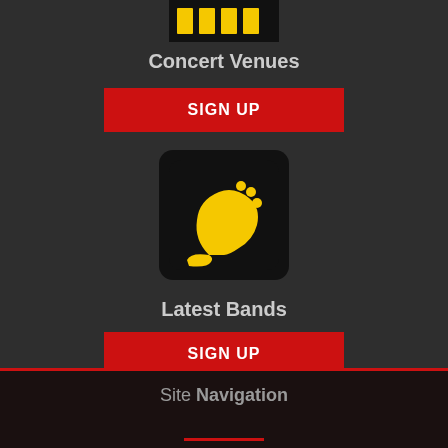[Figure (logo): Concert venues logo with yellow bars on dark background, partially visible at top]
Concert Venues
SIGN UP
[Figure (logo): Guitar headstock icon in yellow on black rounded square background]
Latest Bands
SIGN UP
Site Navigation